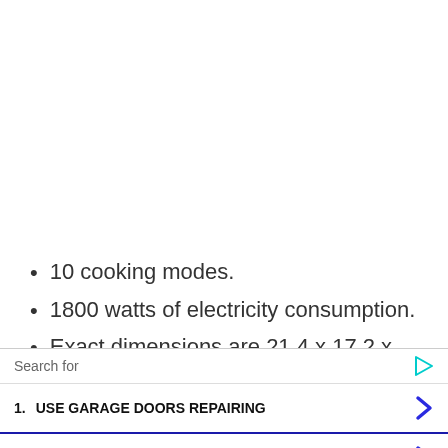10 cooking modes.
1800 watts of electricity consumption.
Exact dimensions are 21.4 x 17.2 x 12.8 inches
[Figure (screenshot): Yahoo Search sponsored ad overlay showing search bar with 'Search for' placeholder, two sponsored results: 1. USE GARAGE DOORS REPAIRING, 2. EOSINOPHILIC ASTHMA TRIGGER, with Yahoo! Search | Sponsored footer]